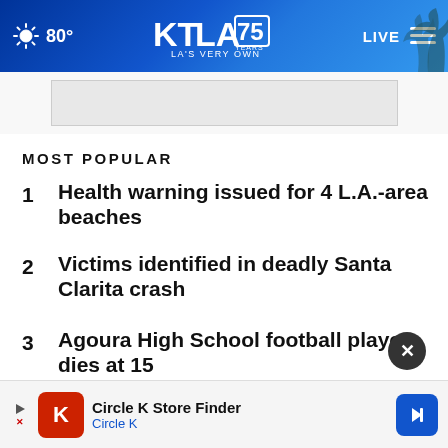80° KTLA 75 YEARS LA'S VERY OWN LIVE
[Figure (screenshot): Advertisement placeholder banner]
MOST POPULAR
1 Health warning issued for 4 L.A.-area beaches
2 Victims identified in deadly Santa Clarita crash
3 Agoura High School football player dies at 15
4 Brush fire erupts near Azusa
5 H... d...
[Figure (screenshot): Circle K Store Finder advertisement banner at bottom of page]